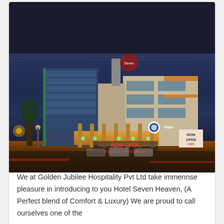[Figure (photo): Nighttime exterior photo of Hotel Seven Season, a modern multi-story building with glass facade, illuminated entrance with orange/yellow lights, sign reading NOW OPEN, and red/white signage.]
Hotel Seven Season
904, Mumbai - Agra National Hwy, Dnyaneshwar Nagar, Pathardi Phata, Nashik, Maharashtra, India, 422009
We at Golden Jubilee Hospitality Pvt Ltd take immennse pleasure in introducing to you Hotel Seven Heaven, (A Perfect blend of Comfort & Luxury) We are proud to call ourselves one of the